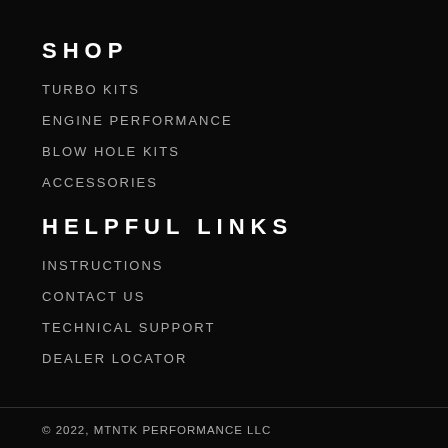SHOP
TURBO KITS
ENGINE PERFORMANCE
BLOW HOLE KITS
ACCESSORIES
HELPFUL LINKS
INSTRUCTIONS
CONTACT US
TECHNICAL SUPPORT
DEALER LOCATOR
© 2022, MTNTK PERFORMANCE LLC